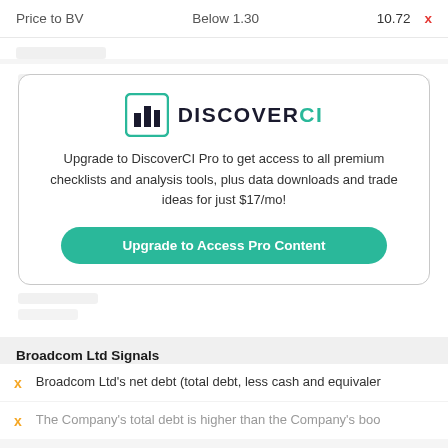| Metric | Condition | Value | Status |
| --- | --- | --- | --- |
| Price to BV | Below 1.30 | 10.72 | X |
[Figure (screenshot): DiscoverCI Pro upgrade modal with logo, promotional text, and upgrade button]
Broadcom Ltd Signals
Broadcom Ltd's net debt (total debt, less cash and equivaler
The Company's total debt is higher than the Company's boo